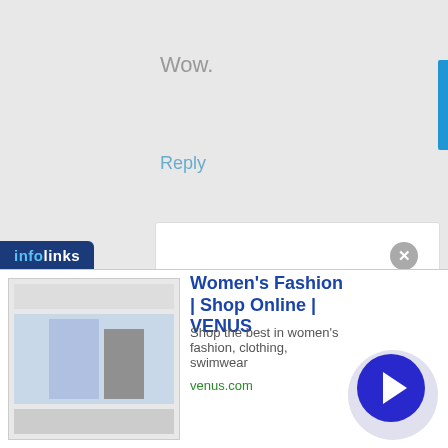Wow.
Reply
Andy Hayes says
AUGUST 20, 2010 AT 19:32
Hi Lisa,
So unicorns do exist! 🙂
[Figure (other): Infolinks advertisement banner with Women's Fashion Shop Online VENUS ad]
Women's Fashion | Shop Online | VENUS
Shop the best in women's fashion, clothing, swimwear
venus.com